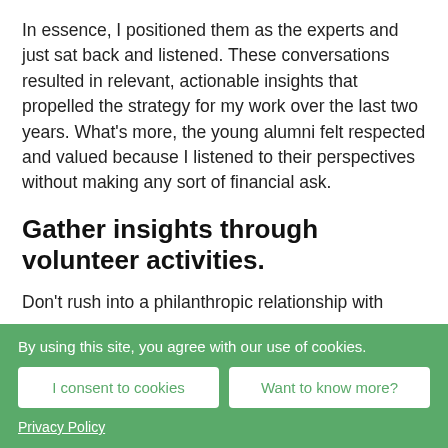In essence, I positioned them as the experts and just sat back and listened. These conversations resulted in relevant, actionable insights that propelled the strategy for my work over the last two years. What's more, the young alumni felt respected and valued because I listened to their perspectives without making any sort of financial ask.
Gather insights through volunteer activities.
Don't rush into a philanthropic relationship with
By using this site, you agree with our use of cookies.
I consent to cookies
Want to know more?
Privacy Policy